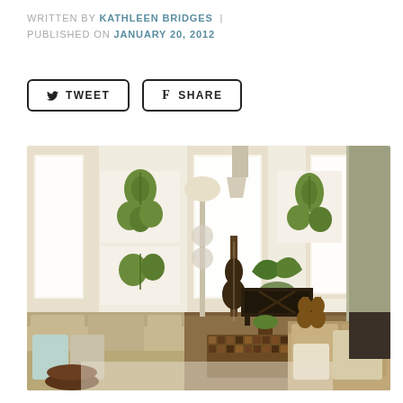WRITTEN BY KATHLEEN BRIDGES | PUBLISHED ON JANUARY 20, 2012
[Figure (other): Tweet and Share social media buttons with bird and f icons]
[Figure (photo): Interior living room photo showing beige sofas, botanical artwork, guitar, violins, dark wood coffee table with mosaic pattern, plant centerpiece, floor lamp, and bright windows]